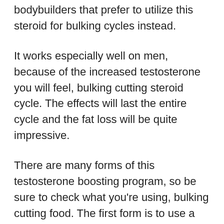bodybuilders that prefer to utilize this steroid for bulking cycles instead.
It works especially well on men, because of the increased testosterone you will feel, bulking cutting steroid cycle. The effects will last the entire cycle and the fat loss will be quite impressive.
There are many forms of this testosterone boosting program, so be sure to check what you're using, bulking cutting food. The first form is to use a 2% testosterone ester. However, be careful what percentage you use as you will most likely not lose that much muscle using this form.
Using the 2% form can be a bit dangerous in that you may increase the risks of a heart attack by a large amount, cutting steroid bulking cycle.